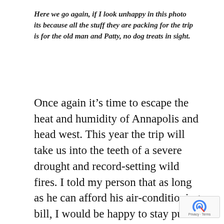Here we go again, if I look unhappy in this photo its because all the stuff they are packing for the trip is for the old man and Patty, no dog treats in sight.
Once again it’s time to escape the heat and humidity of Annapolis and head west. This year the trip will take us into the teeth of a severe drought and record-setting wild fires. I told my person that as long as he can afford his air-conditioning bill, I would be happy to stay put this summer rather than risk him driving us into a raging inferno or, just as likely, into a pack of ravenous grizzly bears looking for a four-legged snack. Fortunately, his new bri came to my rescue with her desire to attenc 50th high school reunion in Escanaba Michigan